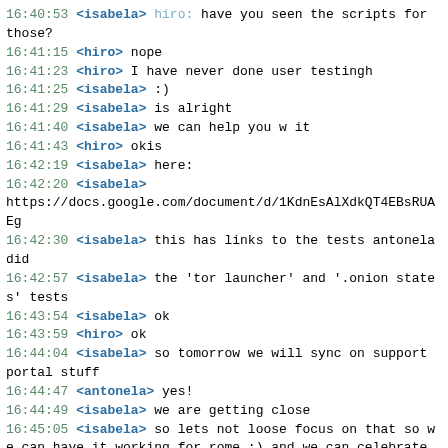16:40:53 <isabela> hiro: have you seen the scripts for those?
16:41:15 <hiro> nope
16:41:23 <hiro> I have never done user testingh
16:41:25 <isabela> :)
16:41:29 <isabela> is alright
16:41:40 <isabela> we can help you w it
16:41:43 <hiro> okis
16:42:19 <isabela> here:
16:42:20 <isabela>
https://docs.google.com/document/d/1KdnEsAlXdkQT4EBsRUAEg
16:42:30 <isabela> this has links to the tests antonela did
16:42:57 <isabela> the 'tor launcher' and '.onion states' tests
16:43:54 <isabela> ok
16:43:59 <hiro> ok
16:44:04 <isabela> so tomorrow we will sync on support portal stuff
16:44:47 <antonela> yes!
16:44:49 <isabela> we are getting close
16:45:05 <isabela> so lets not loose focus on that so we can have it working for rome :) and we can celebrate it!
16:45:05 <antonela> how we can ask for content? i mean, the structure is already set, but might change based on the content
16:45:19 <isabela> i think all that has to be fixed on content
16:45:27 <isabela> is the censorship questions